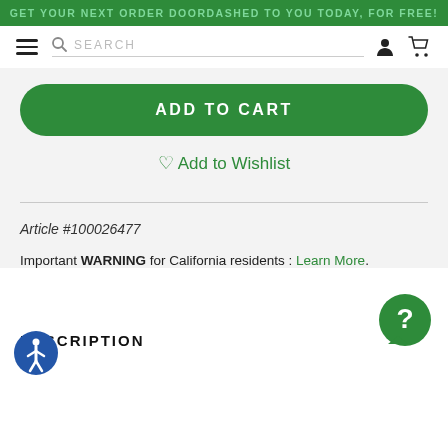GET YOUR NEXT ORDER DOORDASHED TO YOU TODAY, FOR FREE!
[Figure (screenshot): Navigation bar with hamburger menu, search bar, user icon, and cart icon]
ADD TO CART
Add to Wishlist
Article #100026477
Important WARNING for California residents : Learn More.
DESCRIPTION